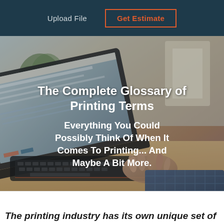Upload File   Get Estimate
[Figure (photo): Person typing on a laptop keyboard, shot in warm tones with a blurred background showing plants and decor. Hero image for a printing glossary page.]
The Complete Glossary of Printing Terms
Everything You Could Possibly Think Of When It Comes To Printing... And Maybe A Bit More.
The printing industry has its own unique set of